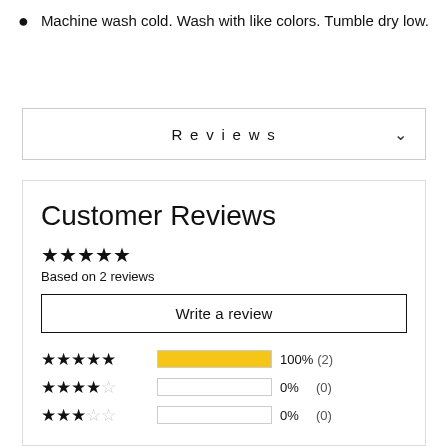Machine wash cold. Wash with like colors. Tumble dry low.
Reviews
Customer Reviews
★★★★★ Based on 2 reviews
Write a review
| Stars | Bar | Percent | Count |
| --- | --- | --- | --- |
| ★★★★★ | 100% | 100% | (2) |
| ★★★★☆ |  | 0% | (0) |
| ★★★☆☆ |  | 0% | (0) |